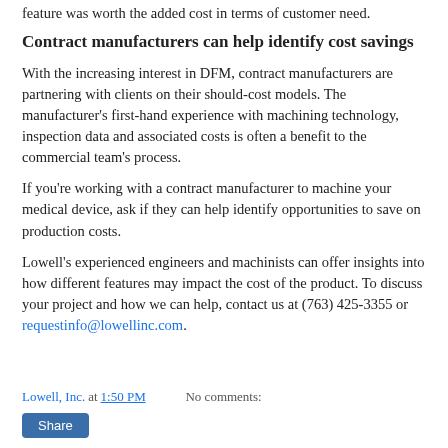feature was worth the added cost in terms of customer need.
Contract manufacturers can help identify cost savings
With the increasing interest in DFM, contract manufacturers are partnering with clients on their should-cost models. The manufacturer’s first-hand experience with machining technology, inspection data and associated costs is often a benefit to the commercial team’s process.
If you’re working with a contract manufacturer to machine your medical device, ask if they can help identify opportunities to save on production costs.
Lowell’s experienced engineers and machinists can offer insights into how different features may impact the cost of the product. To discuss your project and how we can help, contact us at (763) 425-3355 or requestinfo@lowellinc.com.
Lowell, Inc. at 1:50 PM   No comments:
Share